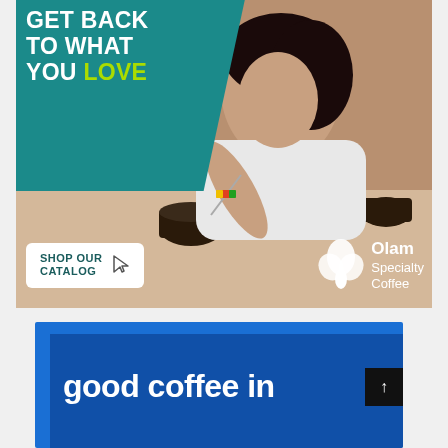[Figure (illustration): Advertisement for Olam Specialty Coffee showing a woman leaning over cupping bowls of coffee on a table. Teal background with white headline text 'GET BACK TO WHAT YOU LOVE' (LOVE in green). White button 'SHOP OUR CATALOG' with cursor icon. Olam Specialty Coffee logo bottom right.]
[Figure (illustration): Second advertisement with blue background showing text 'good coffee in' in large white bold font. Partially visible at bottom of page.]